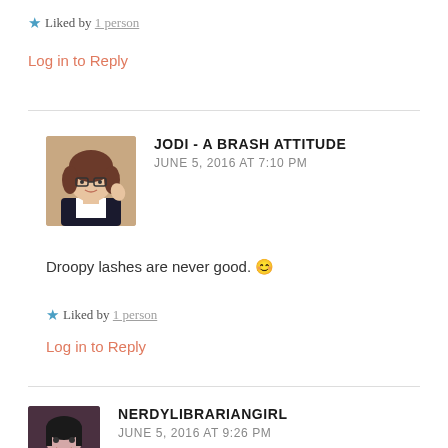★ Liked by 1 person
Log in to Reply
JODI - A BRASH ATTITUDE
JUNE 5, 2016 AT 7:10 PM
Droopy lashes are never good. 😊
★ Liked by 1 person
Log in to Reply
NERDYLIBRARIANGIRL
JUNE 5, 2016 AT 9:26 PM